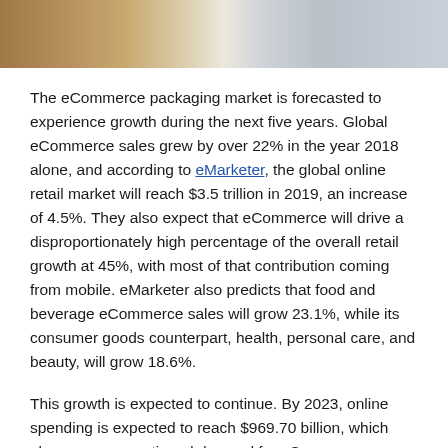[Figure (photo): Photograph strip showing a wooden desk or table surface with packaging/boxes, partially cropped at top of page.]
The eCommerce packaging market is forecasted to experience growth during the next five years. Global eCommerce sales grew by over 22% in the year 2018 alone, and according to eMarketer, the global online retail market will reach $3.5 trillion in 2019, an increase of 4.5%. They also expect that eCommerce will drive a disproportionately high percentage of the overall retail growth at 45%, with most of that contribution coming from mobile. eMarketer also predicts that food and beverage eCommerce sales will grow 23.1%, while its consumer goods counterpart, health, personal care, and beauty, will grow 18.6%.
This growth is expected to continue. By 2023, online spending is expected to reach $969.70 billion, which also means a continued demand for eCommerce packaging. Mordor Intelligence expects the eCommerce packaging market to register a CAGR of nearly 15% during 2019 – 2024, which is great news